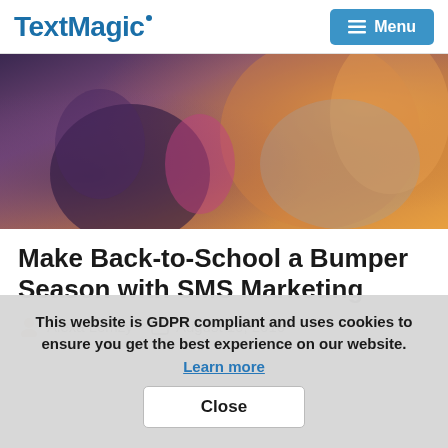TextMagic | Menu
[Figure (photo): Woman helping a child put on or adjust a backpack, outdoor school setting with warm orange tones in background]
Make Back-to-School a Bumper Season with SMS Marketing
Alexa Lemzy   August 10, 2016
This website is GDPR compliant and uses cookies to ensure you get the best experience on our website. Learn more
Close